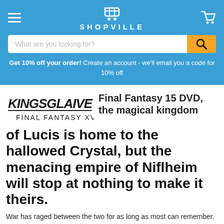SHOPVILLE
What are you looking for?
Get 10% off your order! Create an account - we'll email you a code for 10% off
[Figure (logo): Kingsglaive Final Fantasy XV logo]
Final Fantasy 15 DVD, the magical kingdom of Lucis is home to the hallowed Crystal, but the menacing empire of Niflheim will stop at nothing to make it theirs.
War has raged between the two for as long as most can remember. King Regis of Lucis commands an elite force of soldiers dubbed the